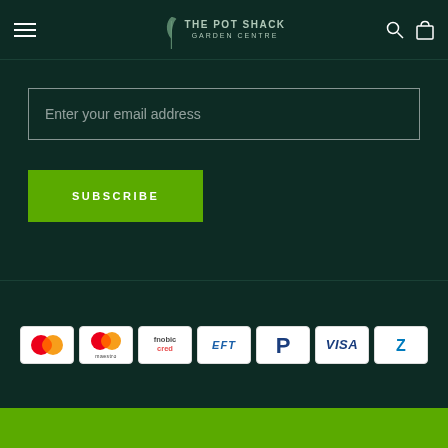THE POT SHACK GARDEN CENTRE
Enter your email address
SUBSCRIBE
[Figure (logo): Payment method logos: Mastercard, Mastercard (Maestro), Mobicred, EFT, PayPal, Visa, Zapper]